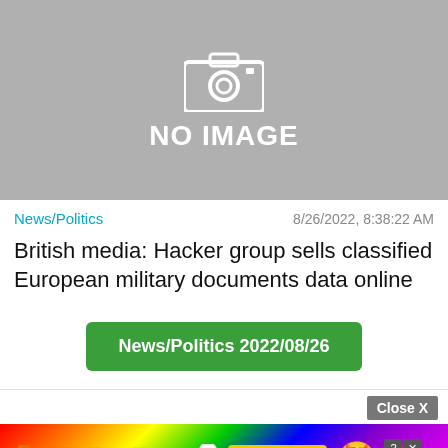[Figure (illustration): Gray placeholder image with camera icon and text 'NO IMAGE']
News/Politics   8/26/2022, 8:38:22 AM
British media: Hacker group sells classified European military documents data online
News/Politics 2022/08/26
[Figure (screenshot): Advertisement banner: 'WHEN REAL LIFE IS QUARANTINED' BitLife ad with rainbow background, emoji characters, and Close X button]